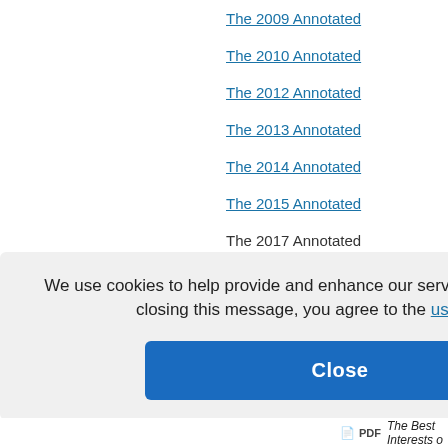The 2009 Annotated
The 2010 Annotated
The 2012 Annotated
The 2013 Annotated
The 2014 Annotated
The 2015 Annotated
The 2017 Annotated
...9-2020 Ann
'1 Annotated
hitecture of T
cklash again
We use cookies to help provide and enhance our service and tailor content. By closing this message, you agree to the use of cookies.
Close
PDF The Best Interests o